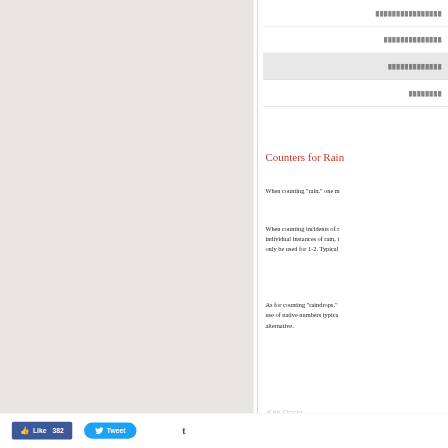[Figure (screenshot): Left textured beige/gray panel background, occupying left 55% of page]
| ████████████████ |
| ██████████████ |
| █████████████ |
| ████████ |
Counters for Rai...
When counting "rain," one m...
When counting incidents of r... individual instances of rain, t... only be used for 1-2. Typical...
As for counting "raindrops," ... use of native numbers typica... alternative.
Like 382   Tweet   t